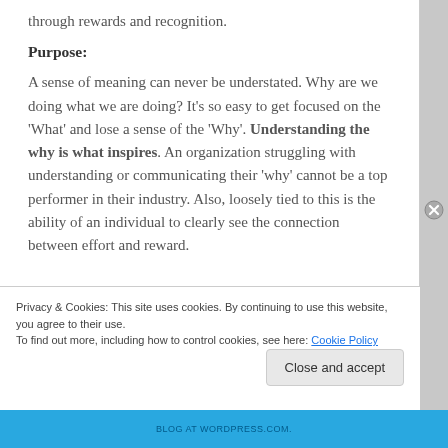through rewards and recognition.
Purpose:
A sense of meaning can never be understated. Why are we doing what we are doing? It’s so easy to get focused on the ‘What’ and lose a sense of the ‘Why’. Understanding the why is what inspires. An organization struggling with understanding or communicating their ‘why’ cannot be a top performer in their industry. Also, loosely tied to this is the ability of an individual to clearly see the connection between effort and reward.
Privacy & Cookies: This site uses cookies. By continuing to use this website, you agree to their use.
To find out more, including how to control cookies, see here: Cookie Policy